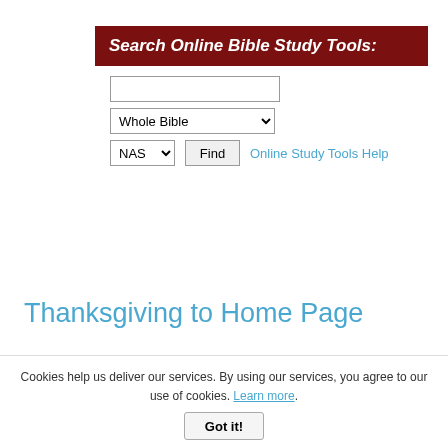Search Online Bible Study Tools:
[Figure (screenshot): Search form with text input, Whole Bible dropdown, NAS dropdown, Find button, and Online Study Tools Help link]
^_Top of Page
Thanksgiving to Home Page
Cookies help us deliver our services. By using our services, you agree to our use of cookies. Learn more. Got it!